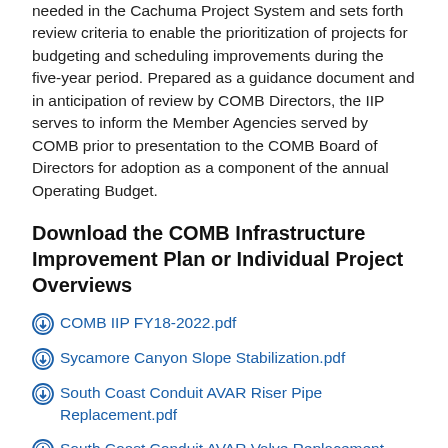needed in the Cachuma Project System and sets forth review criteria to enable the prioritization of projects for budgeting and scheduling improvements during the five-year period. Prepared as a guidance document and in anticipation of review by COMB Directors, the IIP serves to inform the Member Agencies served by COMB prior to presentation to the COMB Board of Directors for adoption as a component of the annual Operating Budget.
Download the COMB Infrastructure Improvement Plan or Individual Project Overviews
COMB IIP FY18-2022.pdf
Sycamore Canyon Slope Stabilization.pdf
South Coast Conduit AVAR Riser Pipe Replacement.pdf
South Coast Conduit AVAR Valve Replacement-